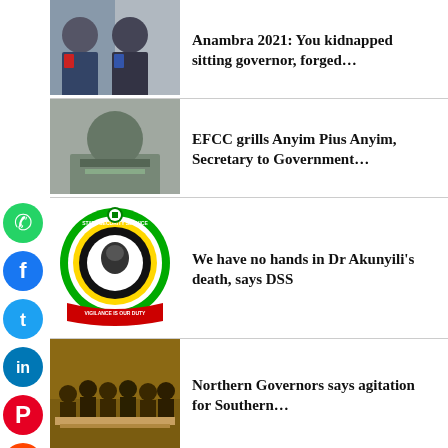[Figure (photo): Two men in suits, news thumbnail for Anambra 2021 story]
Anambra 2021: You kidnapped sitting governor, forged…
[Figure (photo): Portrait of a heavy-set man in grey shirt, news thumbnail]
EFCC grills Anyim Pius Anyim, Secretary to Government…
[Figure (logo): DSS / State Security Service logo - circular green, yellow, black emblem with red banner]
We have no hands in Dr Akunyili's death, says DSS
[Figure (photo): Group of men in traditional attire seated at a table, news thumbnail]
Northern Governors says agitation for Southern…
[Figure (photo): Nigerian Army banner/logo photo]
Nigerian Army apologises, says conduct of female…